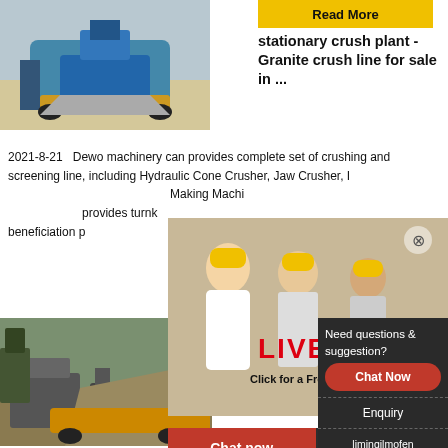[Figure (photo): Blue mobile crushing machine/plant on gravel site]
[Figure (illustration): Read More button - yellow banner]
stationary crush plant - Granite crush line for sale in ...
2021-8-21  Dewo machinery can provides complete set of crushing and screening line, including Hydraulic Cone Crusher, Jaw Crusher, Impact Crusher, Vertical Shaft Impact Crusher (Sand Making Machine), fixed and movable rock crushing line, but also provides turnkey project for cement production line, ore beneficiation plant.
[Figure (screenshot): Live Chat popup overlay with construction workers photo, female customer service agent photo, LIVE CHAT title, Click for a Free Consultation text, Chat now and Chat later buttons]
[Figure (photo): Granite crushing machine / stone crushing plant at quarry site]
[Figure (illustration): Read More yellow button]
Granite Crushing Machine Stone Crushing Machine
[Figure (photo): Female customer service agent with headset]
Need questions & suggestion?
Chat Now
Enquiry
limingjlmofen